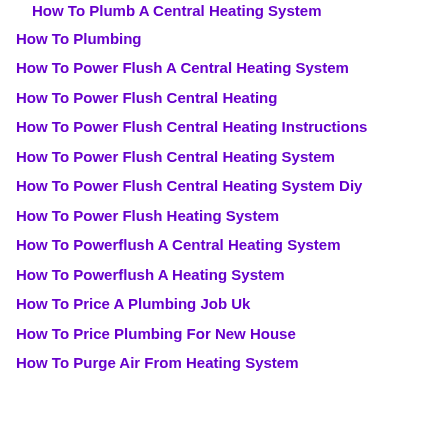How To Plumb A Central Heating System
How To Plumbing
How To Power Flush A Central Heating System
How To Power Flush Central Heating
How To Power Flush Central Heating Instructions
How To Power Flush Central Heating System
How To Power Flush Central Heating System Diy
How To Power Flush Heating System
How To Powerflush A Central Heating System
How To Powerflush A Heating System
How To Price A Plumbing Job Uk
How To Price Plumbing For New House
How To Purge Air From Heating System